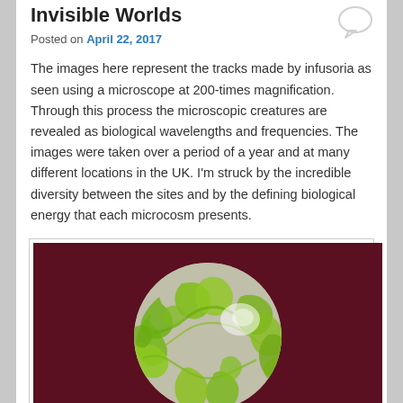Invisible Worlds
Posted on April 22, 2017
The images here represent the tracks made by infusoria as seen using a microscope at 200-times magnification. Through this process the microscopic creatures are revealed as biological wavelengths and frequencies. The images were taken over a period of a year and at many different locations in the UK. I'm struck by the incredible diversity between the sites and by the defining biological energy that each microcosm presents.
[Figure (photo): Microscope image at 200x magnification showing a circular field of view with green/yellow-green infusoria tracks (biological wavelengths and frequencies) against a dark maroon/red background. The circular microscope view shows intricate green curling patterns on a grey/white substrate.]